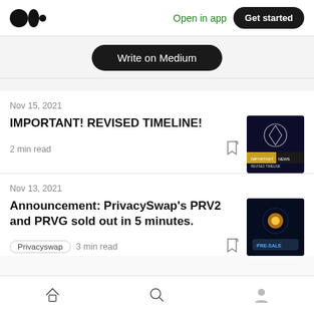Medium logo | Open in app | Get started
Write on Medium
Nov 15, 2021
IMPORTANT! REVISED TIMELINE!
2 min read
[Figure (photo): Dark thumbnail image with shield logo and text 'IMPORTANT NEWS REVISED TIMELINE']
Nov 13, 2021
Announcement: PrivacySwap's PRV2 and PRVG sold out in 5 minutes.
Privacyswap  3 min read
[Figure (photo): Dark thumbnail image with PRE-SALE text and glowing orb graphic]